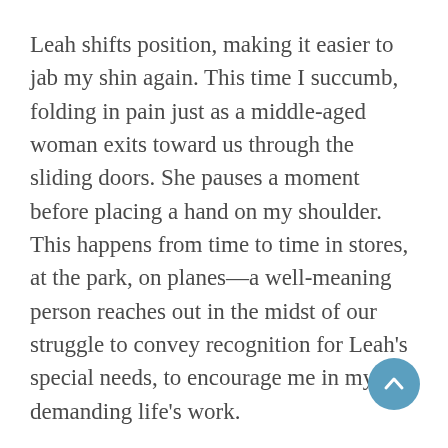Leah shifts position, making it easier to jab my shin again. This time I succumb, folding in pain just as a middle-aged woman exits toward us through the sliding doors. She pauses a moment before placing a hand on my shoulder. This happens from time to time in stores, at the park, on planes—a well-meaning person reaches out in the midst of our struggle to convey recognition for Leah's special needs, to encourage me in my demanding life's work.
“Bless you,” the woman says. “Bless you both.”
But my shame only deepens. This is my life, I think, remembering the wintry ride home after Leah’s diagnosis and the guilt I felt then, an